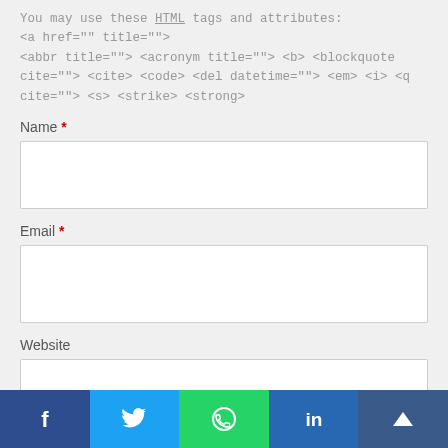You may use these HTML tags and attributes: <a href="" title=""> <abbr title=""> <acronym title=""> <b> <blockquote cite=""> <cite> <code> <del datetime=""> <em> <i> <q cite=""> <s> <strike> <strong>
Name *
Email *
Website
Post Comment
[Figure (infographic): Social sharing bar with Facebook, Twitter, WhatsApp, LinkedIn, and scroll-to-top icons]